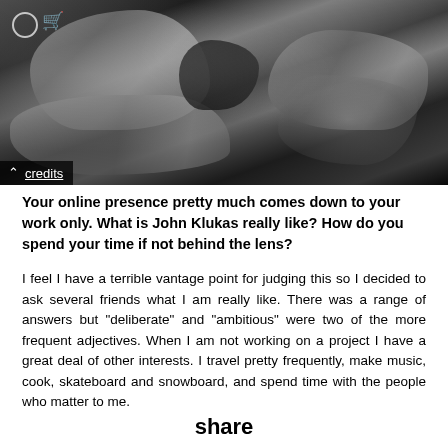[Figure (photo): Black and white high-contrast photograph showing intertwined arms and hands, with a credits bar at the bottom left]
credits
Your online presence pretty much comes down to your work only. What is John Klukas really like? How do you spend your time if not behind the lens?
I feel I have a terrible vantage point for judging this so I decided to ask several friends what I am really like. There was a range of answers but “deliberate” and “ambitious” were two of the more frequent adjectives. When I am not working on a project I have a great deal of other interests. I travel pretty frequently, make music, cook, skateboard and snowboard, and spend time with the people who matter to me.
If you could photograph any character (fictional or real), who would that be and why?
share